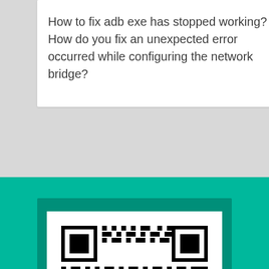How to fix adb exe has stopped working?
How do you fix an unexpected error occurred while configuring the network bridge?
[Figure (other): QR code displayed on a teal/green background with a white card background]